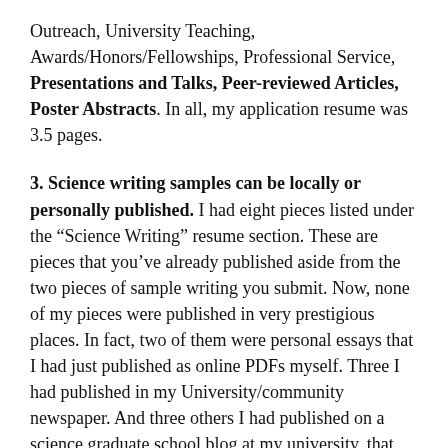Outreach, University Teaching, Awards/Honors/Fellowships, Professional Service, Presentations and Talks, Peer-reviewed Articles, Poster Abstracts. In all, my application resume was 3.5 pages.
3. Science writing samples can be locally or personally published. I had eight pieces listed under the “Science Writing” resume section. These are pieces that you’ve already published aside from the two pieces of sample writing you submit. Now, none of my pieces were published in very prestigious places. In fact, two of them were personal essays that I had just published as online PDFs myself. Three I had published in my University/community newspaper. And three others I had published on a science graduate school blog at my university, that pretty much accepts any submission. So don’t worry about where you’re publishing, just as long as you’re publishing.